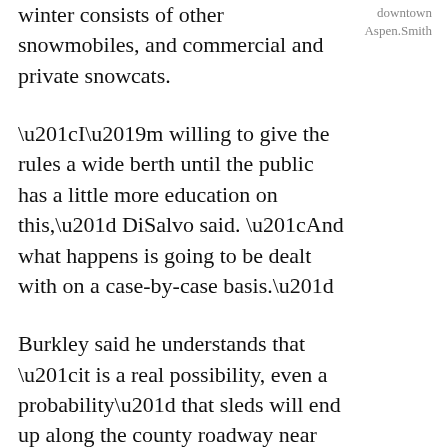winter consists of other snowmobiles, and commercial and private snowcats.
downtown Aspen.Smith
“I’m willing to give the rules a wide berth until the public has a little more education on this,” DiSalvo said. “And what happens is going to be dealt with on a case-by-case basis.”
Burkley said he understands that “it is a real possibility, even a probability” that sleds will end up along the county roadway near the marina.
And while that could be problematic, as